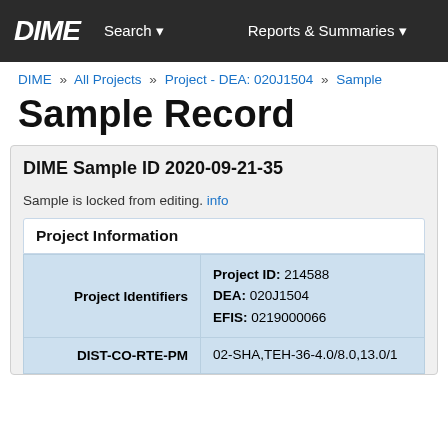DIME   Search ▾   Reports & Summaries ▾
DIME » All Projects » Project - DEA: 020J1504 » Sample
Sample Record
DIME Sample ID 2020-09-21-35
Sample is locked from editing. info
Project Information
|  |  |
| --- | --- |
| Project Identifiers | Project ID: 214588
DEA: 020J1504
EFIS: 0219000066 |
| DIST-CO-RTE-PM | 02-SHA,TEH-36-4.0/8.0,13.0/1 |